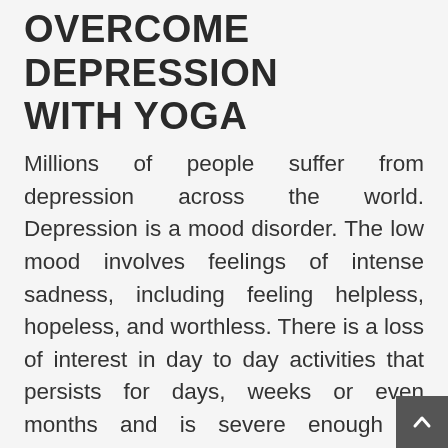OVERCOME DEPRESSION WITH YOGA
Millions of people suffer from depression across the world. Depression is a mood disorder. The low mood involves feelings of intense sadness, including feeling helpless, hopeless, and worthless. There is a loss of interest in day to day activities that persists for days, weeks or even months and is severe enough to interfere with daily life. Temporary emotional responses to the challenges of everyday life do not constitute depression.